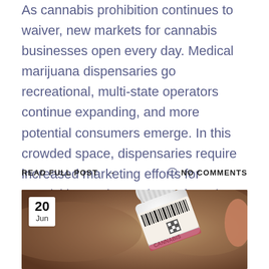As cannabis prohibition continues to waiver, new markets for cannabis businesses open every day. Medical marijuana dispensaries go recreational, multi-state operators continue expanding, and more potential consumers emerge. In this crowded space, dispensaries require increased marketing efforts for acquisition and retention to face the persistent challenges of this industry. Without a doubt, the most popular
READ FULL POST →        NO COMMENTS
[Figure (photo): Close-up photo of a white pill/cannabis bottle with a barcode and a cannabis label, held by a hand, with a brown background. A white date badge in the top-left corner reads '20 Jun'.]